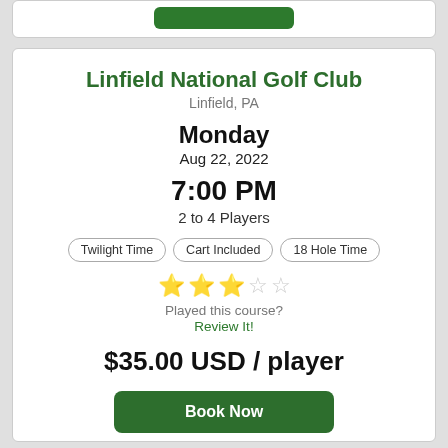Linfield National Golf Club
Linfield, PA
Monday
Aug 22, 2022
7:00 PM
2 to 4 Players
Twilight Time
Cart Included
18 Hole Time
[Figure (other): 3 filled gold stars and 2 empty gray stars rating]
Played this course?
Review It!
$35.00 USD / player
Book Now